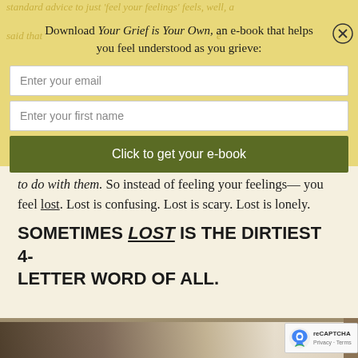standard advice to just 'feel your feelings' feels, well, a said that...
Download Your Grief is Your Own, an e-book that helps you feel understood as you grieve:
Enter your email
Enter your first name
Click to get your e-book
to do with them. So instead of feeling your feelings—you feel lost. Lost is confusing. Lost is scary. Lost is lonely.
SOMETIMES LOST IS THE DIRTIEST 4-LETTER WORD OF ALL.
[Figure (photo): Bottom portion of a webpage showing a photograph, partially visible, with brown/warm tones]
[Figure (other): reCAPTCHA badge with Privacy and Terms links]